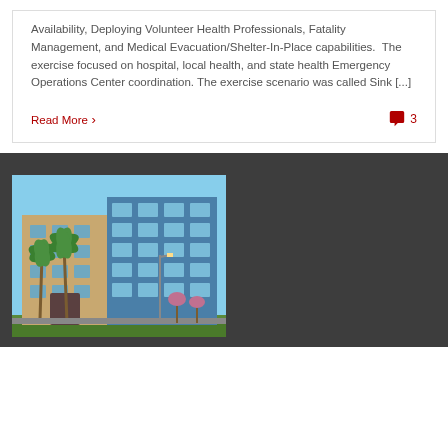Availability, Deploying Volunteer Health Professionals, Fatality Management, and Medical Evacuation/Shelter-In-Place capabilities. The exercise focused on hospital, local health, and state health Emergency Operations Center coordination. The exercise scenario was called Sink [...]
Read More
3
[Figure (photo): A multi-story office building with a modern blue glass facade on the right side and a tan/brick section on the left. Palm trees and other green trees are in front. Clear blue sky visible.]